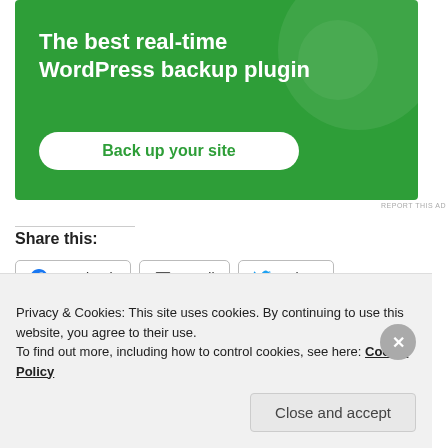[Figure (other): Green advertisement banner for WordPress backup plugin with text 'The best real-time WordPress backup plugin' and a 'Back up your site' button]
REPORT THIS AD
Share this:
Facebook  Email  Twitter
Privacy & Cookies: This site uses cookies. By continuing to use this website, you agree to their use. To find out more, including how to control cookies, see here: Cookie Policy
Close and accept